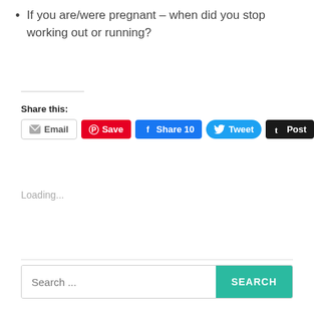If you are/were pregnant – when did you stop working out or running?
Share this:
[Figure (screenshot): Social share buttons: Email, Save (Pinterest), Share 10 (Facebook), Tweet (Twitter), Post (Tumblr)]
Loading...
Search ...